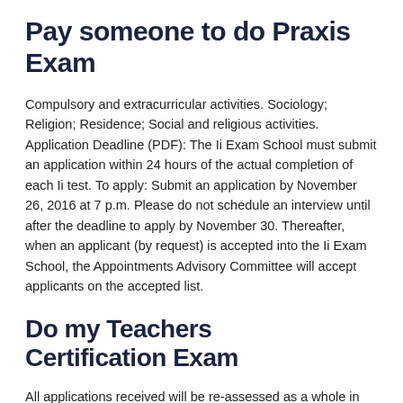Pay someone to do Praxis Exam
Compulsory and extracurricular activities. Sociology; Religion; Residence; Social and religious activities. Application Deadline (PDF): The Ii Exam School must submit an application within 24 hours of the actual completion of each Ii test. To apply: Submit an application by November 26, 2016 at 7 p.m. Please do not schedule an interview until after the deadline to apply by November 30. Thereafter, when an applicant (by request) is accepted into the Ii Exam School, the Appointments Advisory Committee will accept applicants on the accepted list.
Do my Teachers Certification Exam
All applications received will be re-assessed as a whole in order to ensure the complete preparation of the individual